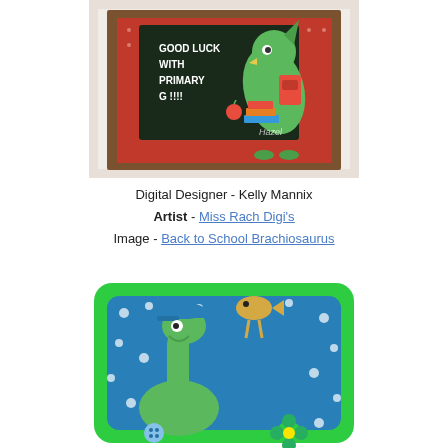[Figure (photo): Handmade greeting card featuring a green dinosaur (Brachiosaurus) with a school backpack standing in front of a chalkboard that reads 'Good Luck With Primary G!!!!', surrounded by red patterned paper and lace border. Hazel logo watermark visible.]
Digital Designer - Kelly Mannix
Artist - Miss Rach Digi's
Image - Back to School Brachiosaurus
[Figure (photo): Handmade card featuring a green long-necked dinosaur wearing a blue cap on a blue polka-dot background with green rounded border, accompanied by a wooden bird charm and green flower embellishment.]